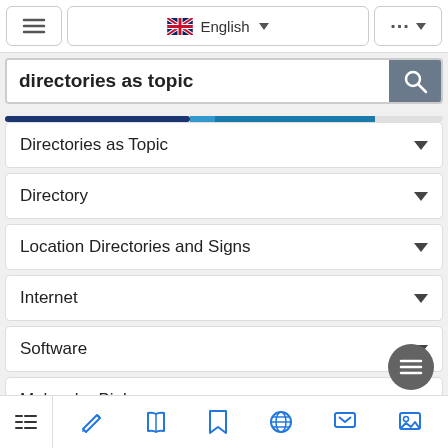[Figure (screenshot): Top navigation bar with hamburger menu, English language selector with UK flag, and three-dots menu button]
directories as topic
[Figure (infographic): Horizontal progress/indicator bar in blue tones]
Directories as Topic
Directory
Location Directories and Signs
Internet
Software
Molecular Biology
Weather
[Figure (screenshot): Bottom navigation bar with list, pencil, book, bookmark, globe, chat, and image icons]